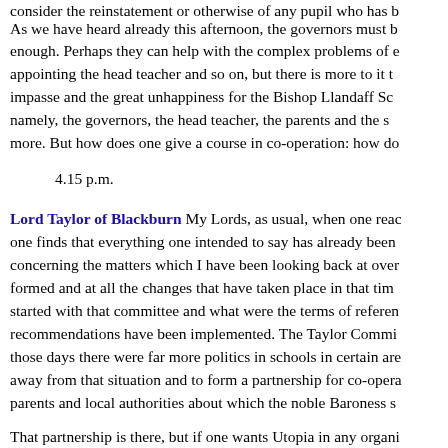consider the reinstatement or otherwise of any pupil who has … As we have heard already this afternoon, the governors must … enough. Perhaps they can help with the complex problems of … appointing the head teacher and so on, but there is more to it … impasse and the great unhappiness for the Bishop Llandaff Sc… namely, the governors, the head teacher, the parents and the s… more. But how does one give a course in co-operation: how do…
4.15 p.m.
Lord Taylor of Blackburn My Lords, as usual, when one reac… one finds that everything one intended to say has already bee… concerning the matters which I have been looking back at ove… formed and at all the changes that have taken place in that tim… started with that committee and what were the terms of referen… recommendations have been implemented. The Taylor Commi… those days there were far more politics in schools in certain ar… away from that situation and to form a partnership for co-opera… parents and local authorities about which the noble Baroness s…
That partnership is there, but if one wants Utopia in any organi…